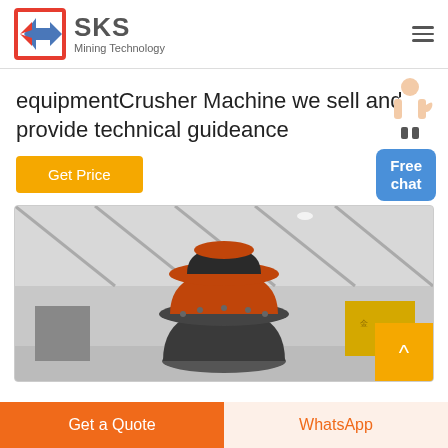SKS Mining Technology
equipmentCrusher Machine we sell and provide technical guideance
Get Price
Free chat
[Figure (photo): Large industrial cone crusher machine displayed inside a warehouse facility with visible roof trusses and banners in the background. A golden scroll-to-top arrow button overlays the bottom-right corner of the image.]
Get a Quote
WhatsApp